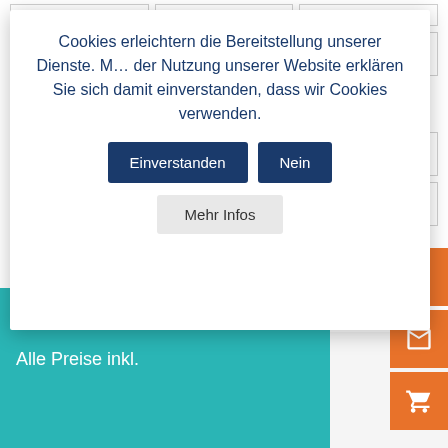Notfalltasche | Regeneration | Rittigkeit
Schweiß | Schwitzen | Sehnen
Sportpferd | Stallapotheke | Stauschlauch
Stoffwechsel | Stress | Teufelskralle
Training | V...
Vitamine
Cookies erleichtern die Bereitstellung unserer Dienste. Mit der Nutzung unserer Website erklären Sie sich damit einverstanden, dass wir Cookies verwenden.
Einverstanden | Nein | Mehr Infos
Kontakt |
Alle Preise inkl.